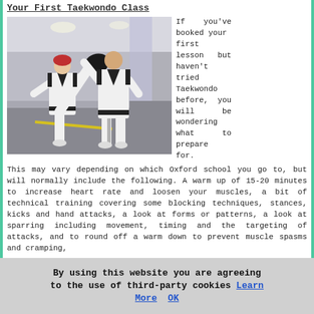Your First Taekwondo Class
[Figure (photo): Two people in white taekwondo uniforms with black belts practicing in a dojo. A woman with red hair is performing a high kick toward a black focus pad held by a man.]
If you've booked your first lesson but haven't tried Taekwondo before, you will be wondering what to prepare for. This may vary depending on which Oxford school you go to, but will normally include the following. A warm up of 15-20 minutes to increase heart rate and loosen your muscles, a bit of technical training covering some blocking techniques, stances, kicks and hand attacks, a look at forms or patterns, a look at sparring including movement, timing and the targeting of attacks, and to round off a warm down to prevent muscle spasms and cramping,
By using this website you are agreeing to the use of third-party cookies Learn More  OK